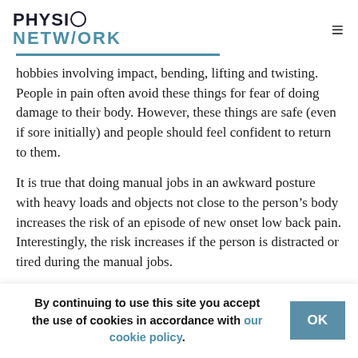PHYSIO NETWORK
hobbies involving impact, bending, lifting and twisting. People in pain often avoid these things for fear of doing damage to their body. However, these things are safe (even if sore initially) and people should feel confident to return to them.
It is true that doing manual jobs in an awkward posture with heavy loads and objects not close to the person’s body increases the risk of an episode of new onset low back pain. Interestingly, the risk increases if the person is distracted or tired during the manual jobs.
By continuing to use this site you accept the use of cookies in accordance with our cookie policy.